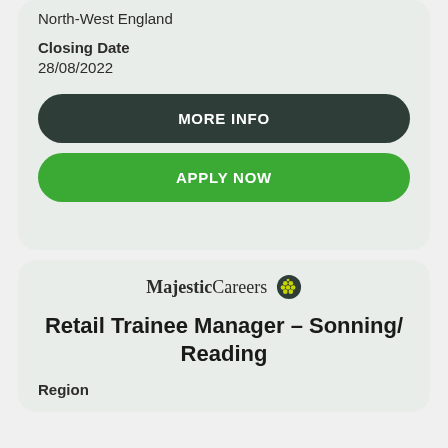North-West England
Closing Date
28/08/2022
MORE INFO
APPLY NOW
[Figure (logo): Majestic Careers logo with grape icon]
Retail Trainee Manager - Sonning/Reading
Region